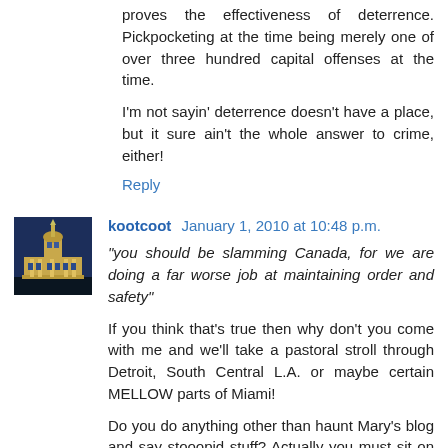proves the effectiveness of deterrence. Pickpocketing at the time being merely one of over three hundred capital offenses at the time.
I'm not sayin' deterrence doesn't have a place, but it sure ain't the whole answer to crime, either!
Reply
kootcoot  January 1, 2010 at 10:48 p.m.
"you should be slamming Canada, for we are doing a far worse job at maintaining order and safety"
If you think that's true then why don't you come with me and we'll take a pastoral stroll through Detroit, South Central L.A. or maybe certain MELLOW parts of Miami!
Do you do anything other than haunt Mary's blog and say stooopid stuff? Actually you must sit on the can while you're reading and trying to type!
Reply